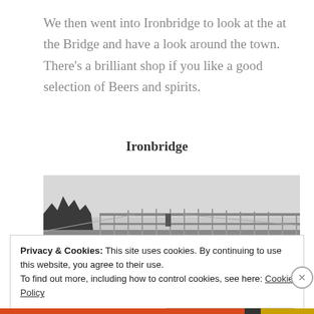We then went into Ironbridge to look at the at the Bridge and have a look around the town. There's a brilliant shop if you like a good selection of Beers and spirits.
Ironbridge
[Figure (photo): Black and white photograph of Ironbridge structure, showing the iron railings/bridge against a grey sky with trees visible on the left]
Privacy & Cookies: This site uses cookies. By continuing to use this website, you agree to their use.
To find out more, including how to control cookies, see here: Cookie Policy
Close and accept